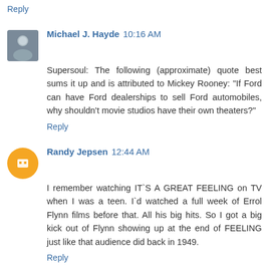Reply
Michael J. Hayde  10:16 AM
Supersoul: The following (approximate) quote best sums it up and is attributed to Mickey Rooney: "If Ford can have Ford dealerships to sell Ford automobiles, why shouldn't movie studios have their own theaters?"
Reply
Randy Jepsen  12:44 AM
I remember watching IT`S A GREAT FEELING on TV when I was a teen. I`d watched a full week of Errol Flynn films before that. All his big hits. So I got a big kick out of Flynn showing up at the end of FEELING just like that audience did back in 1949.
Reply
Reg Hartt  6:03 AM